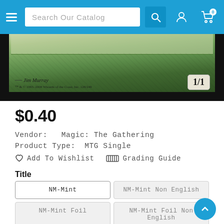Search Our Catalog
[Figure (photo): Bottom portion of a Magic: The Gathering card showing green card art, artist credit 'Jim Murray', copyright '1993-2008 Wizards of the Coast, Inc. 128/249', and power/toughness box showing '1/1']
$0.40
Vendor:   Magic: The Gathering
Product Type:   MTG Single
Add To Wishlist   Grading Guide
Title
NM-Mint
NM-Mint Non English
NM-Mint Foil
NM-Mint Foil Non English